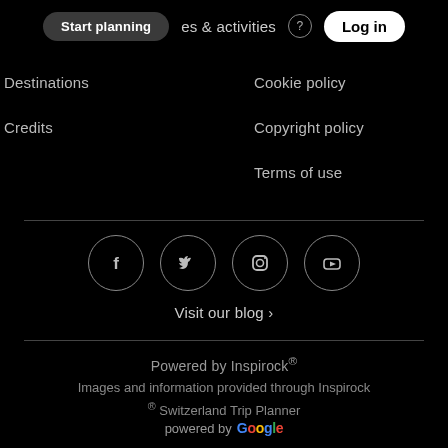Start planning   places & activities   Log in
Destinations
Cookie policy
Credits
Copyright policy
Terms of use
[Figure (infographic): Four circular social media icons: Facebook (f), Twitter (bird), Instagram (camera), YouTube (play button)]
Visit our blog ›
Powered by Inspirock®
Images and information provided through Inspirock ® Switzerland Trip Planner
powered by Google